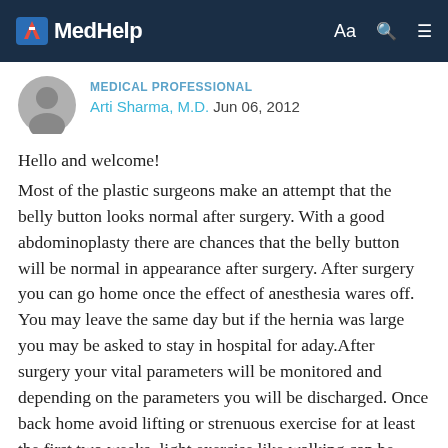MedHelp
MEDICAL PROFESSIONAL
Arti Sharma, M.D. Jun 06, 2012
Hello and welcome! Most of the plastic surgeons make an attempt that the belly button looks normal after surgery. With a good abdominoplasty there are chances that the belly button will be normal in appearance after surgery. After surgery you can go home once the effect of anesthesia wares off. You may leave the same day but if the hernia was large you may be asked to stay in hospital for aday.After surgery your vital parameters will be monitored and depending on the parameters you will be discharged. Once back home avoid lifting or strenuous exercise for at least the first two weeks, light exercise like walking can be done. The recovery